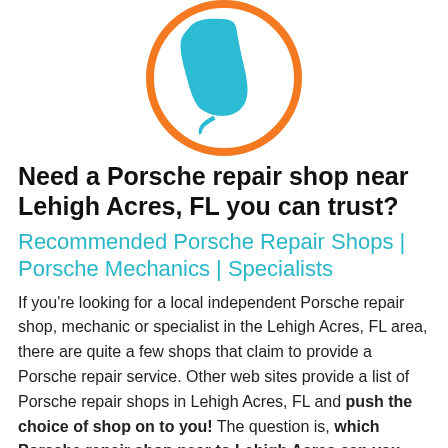[Figure (illustration): Orange circle outline containing a teal/cyan silhouette of the state of Florida on a white background]
Need a Porsche repair shop near Lehigh Acres, FL you can trust?
Recommended Porsche Repair Shops | Porsche Mechanics | Specialists
If you’re looking for a local independent Porsche repair shop, mechanic or specialist in the Lehigh Acres, FL area, there are quite a few shops that claim to provide a Porsche repair service. Other web sites provide a list of Porsche repair shops in Lehigh Acres, FL and push the choice of shop on to you! The question is, which Porsche repair shop near to Lehigh Acres can you trust? And how do you